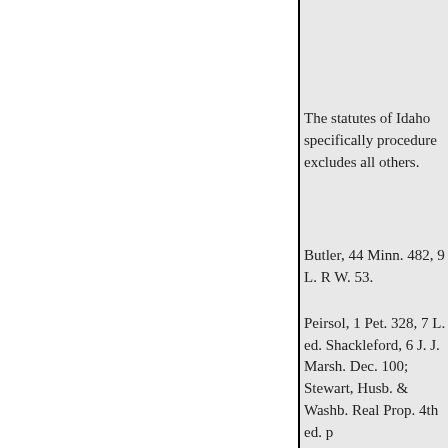The statutes of Idaho specifically procedure excludes all others.
Butler, 44 Minn. 482, 9 L. R W. 53.
Peirsol, 1 Pet. 328, 7 L. ed. Shackleford, 6 J. J. Marsh. Dec. 100; Stewart, Husb. & Washb. Real Prop. 4th ed. p
A married woman can only be homestead can only be conveyed
Mathews v. Davis, 102 Cal. 20
Davis, 20 Cal. 195; Security Loa Cal. 217, 15 Am. St. Rep. 47, 22 Pac. 98.
On petition for rehearing.